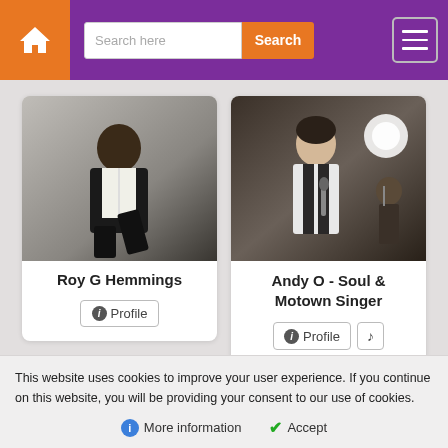[Figure (screenshot): Website header with home button, search bar, search button, and hamburger menu on purple background]
[Figure (photo): Roy G Hemmings - man in patterned suit sitting, profile card]
[Figure (photo): Andy O - Soul & Motown Singer - man holding microphone with guitarist in background, profile card]
This website uses cookies to improve your user experience. If you continue on this website, you will be providing your consent to our use of cookies.
More information
Accept